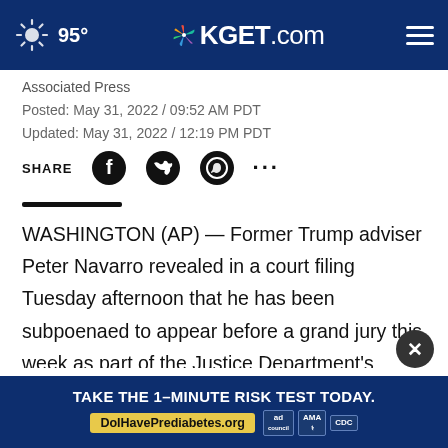95° KGET.com
Associated Press
Posted: May 31, 2022 / 09:52 AM PDT
Updated: May 31, 2022 / 12:19 PM PDT
SHARE
WASHINGTON (AP) — Former Trump adviser Peter Navarro revealed in a court filing Tuesday afternoon that he has been subpoenaed to appear before a grand jury this week as part of the Justice Department's sprawling probe into the deadly insurrection at the U.S. Capitol
TAKE THE 1-MINUTE RISK TEST TODAY. DolHavePrediabetes.org